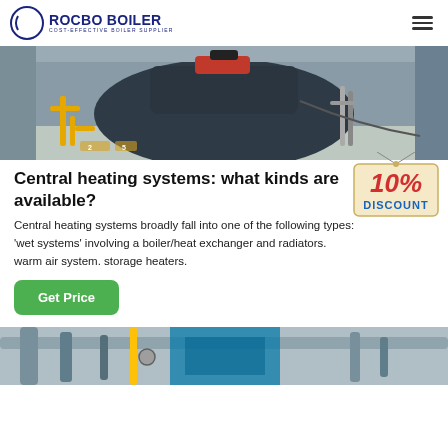[Figure (logo): Rocbo Boiler logo with crescent/circle icon and text 'ROCBO BOILER / COST-EFFECTIVE BOILER SUPPLIER']
[Figure (photo): Industrial boiler equipment in a warehouse/factory setting, showing a large dark-colored boiler with yellow and metal pipes, red component on top, industrial ceiling visible]
Central heating systems: what kinds are available?
[Figure (illustration): 10% DISCOUNT badge/sticker with red and blue text on a cream/tan tag hanging from strings]
Central heating systems broadly fall into one of the following types: 'wet systems' involving a boiler/heat exchanger and radiators. warm air system. storage heaters.
[Figure (other): Green 'Get Price' button]
[Figure (photo): Partial view of industrial boiler/pipe equipment at the bottom of the page]